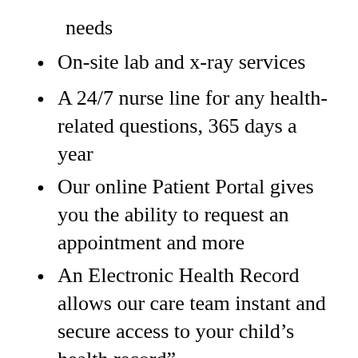needs
On-site lab and x-ray services
A 24/7 nurse line for any health-related questions, 365 days a year
Our online Patient Portal gives you the ability to request an appointment and more
An Electronic Health Record allows our care team instant and secure access to your child's health record”
Additionally, NBA staff has worked directly with a few of